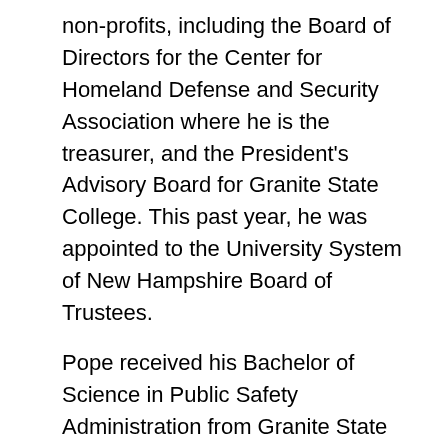non-profits, including the Board of Directors for the Center for Homeland Defense and Security Association where he is the treasurer, and the President's Advisory Board for Granite State College. This past year, he was appointed to the University System of New Hampshire Board of Trustees.
Pope received his Bachelor of Science in Public Safety Administration from Granite State College and a Master of Arts in Security Studies, Homeland Security and Defense from the U.S. Naval Postgraduate School in Monterey, Calif.
To learn more about Van Loan's Master of Science in Homeland Security Studies program, visit vanloan.endicott.edu.